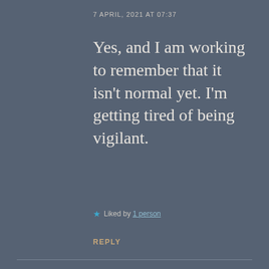7 APRIL, 2021 AT 07:37
Yes, and I am working to remember that it isn't normal yet. I'm getting tired of being vigilant.
★ Liked by 1 person
REPLY